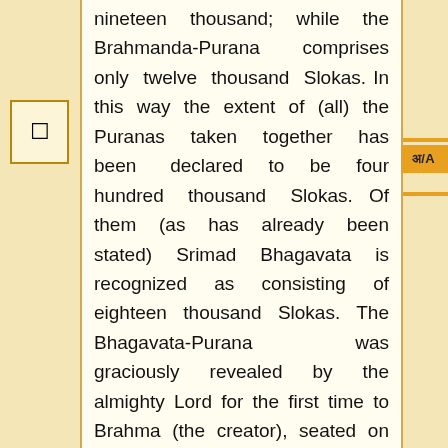nineteen thousand; while the Brahmanda-Purana comprises only twelve thousand Slokas. In this way the extent of (all) the Puranas taken together has been declared to be four hundred thousand Slokas. Of them (as has already been stated) Srimad Bhagavata is recognized as consisting of eighteen thousand Slokas. The Bhagavata-Purana was graciously revealed by the almighty Lord for the first time to Brahma (the creator), seated on the lotus sprung from His navel and afraid of transmigration (and